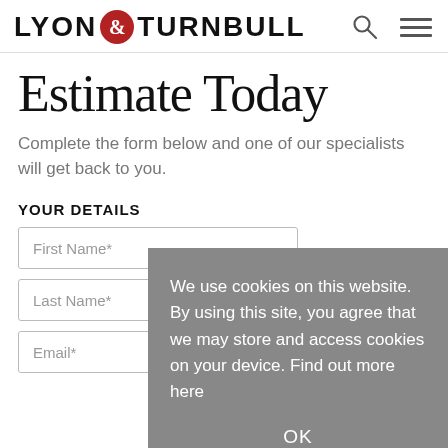LYON & TURNBULL
Estimate Today
Complete the form below and one of our specialists will get back to you.
YOUR DETAILS
First Name*
Last Name*
Email*
We use cookies on this website. By using this site, you agree that we may store and access cookies on your device. Find out more here
OK